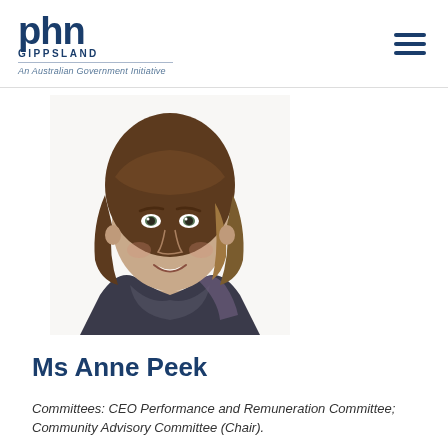phn GIPPSLAND — An Australian Government Initiative
[Figure (photo): Professional headshot of Ms Anne Peek, a woman with shoulder-length brown hair with bangs, smiling, wearing a dark scarf/wrap, white background]
Ms Anne Peek
Committees: CEO Performance and Remuneration Committee; Community Advisory Committee (Chair).